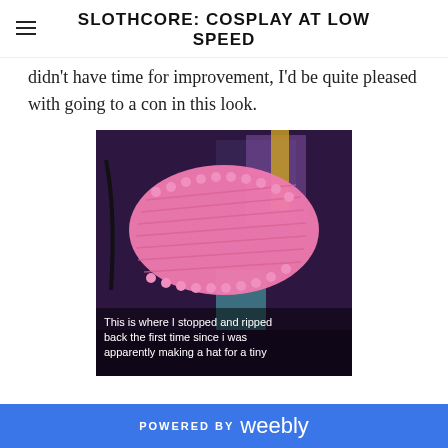SLOTHCORE: COSPLAY AT LOW SPEED
didn't have time for improvement, I'd be quite pleased with going to a con in this look.
[Figure (photo): A pink knitted/crocheted piece of fabric photographed against a dark purple background with some colorful items visible behind it. A text overlay at the bottom reads: This is where I stopped and ripped back the first time since i was apparently making a hat for a tiny]
This is where I stopped and ripped back the first time since i was apparently making a hat for a tiny
POWERED BY weebly